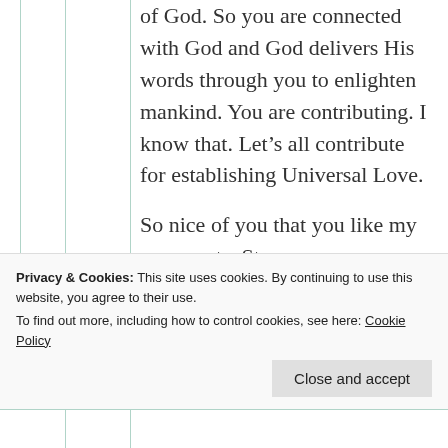of God. So you are connected with God and God delivers His words through you to enlighten mankind. You are contributing. I know that. Let's all contribute for establishing Universal Love. So nice of you that you like my comments. Stay
Privacy & Cookies: This site uses cookies. By continuing to use this website, you agree to their use. To find out more, including how to control cookies, see here: Cookie Policy
Close and accept